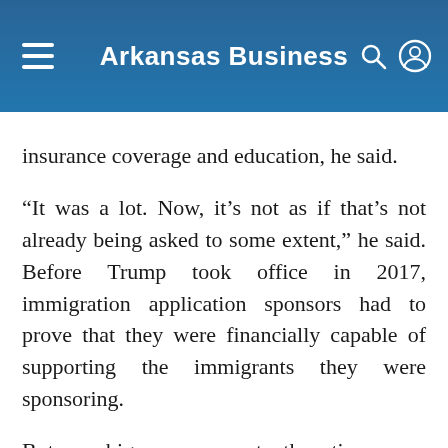Arkansas Business
insurance coverage and education, he said.
“It was a lot. Now, it’s not as if that’s not already being asked to some extent,” he said. Before Trump took office in 2017, immigration application sponsors had to prove that they were financially capable of supporting the immigrants they were sponsoring.
But a big concern at the time was immigration officers denying applications because they thought the immigrant was likely to become a public charge, and there was no appeal process when that happened. All the immigrant could do was reapply and hope to get an officer with a